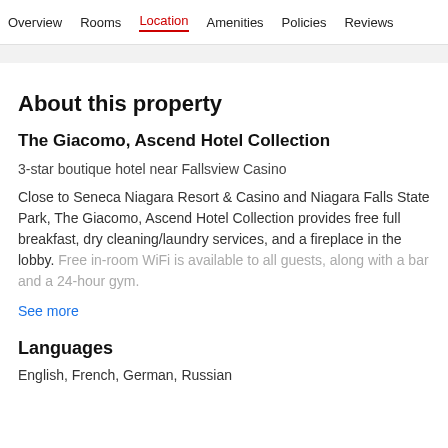Overview  Rooms  Location  Amenities  Policies  Reviews
About this property
The Giacomo, Ascend Hotel Collection
3-star boutique hotel near Fallsview Casino
Close to Seneca Niagara Resort & Casino and Niagara Falls State Park, The Giacomo, Ascend Hotel Collection provides free full breakfast, dry cleaning/laundry services, and a fireplace in the lobby. Free in-room WiFi is available to all guests, along with a bar and a 24-hour gym.
See more
Languages
English, French, German, Russian